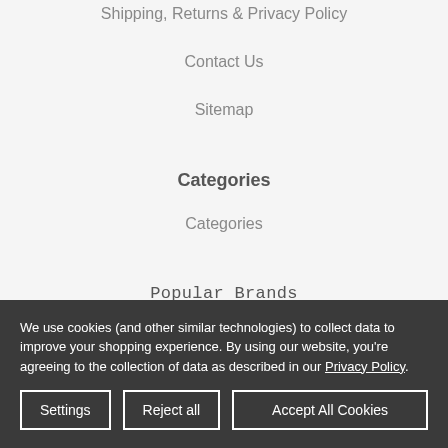Shipping, Returns & Privacy Policy
Contact Us
Sitemap
Categories
Categories
Popular Brands
We use cookies (and other similar technologies) to collect data to improve your shopping experience. By using our website, you're agreeing to the collection of data as described in our Privacy Policy.
Settings | Reject all | Accept All Cookies